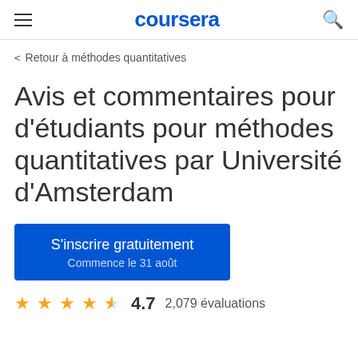coursera
< Retour à méthodes quantitatives
Avis et commentaires pour d'étudiants pour méthodes quantitatives par Université d'Amsterdam
S'inscrire gratuitement
Commence le 31 août
4.7  2,079 évaluations